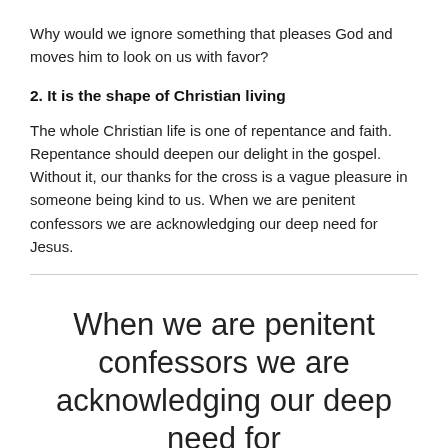Why would we ignore something that pleases God and moves him to look on us with favor?
2. It is the shape of Christian living
The whole Christian life is one of repentance and faith. Repentance should deepen our delight in the gospel. Without it, our thanks for the cross is a vague pleasure in someone being kind to us. When we are penitent confessors we are acknowledging our deep need for Jesus.
When we are penitent confessors we are acknowledging our deep need for